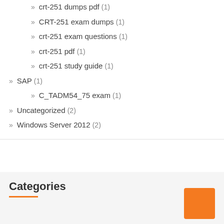crt-251 dumps pdf (1)
CRT-251 exam dumps (1)
crt-251 exam questions (1)
crt-251 pdf (1)
crt-251 study guide (1)
SAP (1)
C_TADM54_75 exam (1)
Uncategorized (2)
Windows Server 2012 (2)
Categories